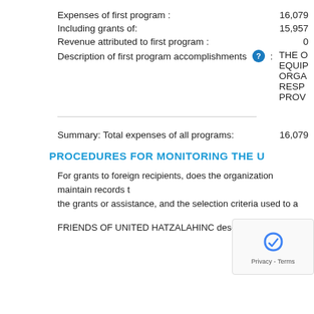Expenses of first program : 16,079
Including grants of: 15,957
Revenue attributed to first program : 0
Description of first program accomplishments : THE O EQUIP ORGA RESP PROV
Summary: Total expenses of all programs: 16,079
PROCEDURES FOR MONITORING THE U
For grants to foreign recipients, does the organization maintain records t the grants or assistance, and the selection criteria used to a
FRIENDS OF UNITED HATZALAHINC describes its proced outside the United States as follows: